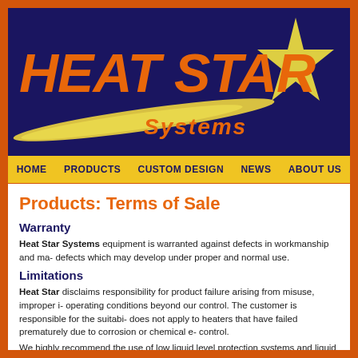[Figure (logo): Heat Star Systems logo on dark navy background with orange bold italic text and yellow star graphic, yellow swoosh comet tail]
HOME   PRODUCTS   CUSTOM DESIGN   NEWS   ABOUT US
Products: Terms of Sale
Warranty
Heat Star Systems equipment is warranted against defects in workmanship and ma- defects which may develop under proper and normal use.
Limitations
Heat Star disclaims responsibility for product failure arising from misuse, improper i- operating conditions beyond our control. The customer is responsible for the suitabi- does not apply to heaters that have failed prematurely due to corrosion or chemical e- control.
We highly recommend the use of low liquid level protection systems and liquid level suitability of products to specific applications is the final responsibility of the user.
Please insure applicability of heater before installation since we cannot guarantee he- chemical destruction caused by unusual conditions over which we have no control s-
Excessively high solutions temperatures